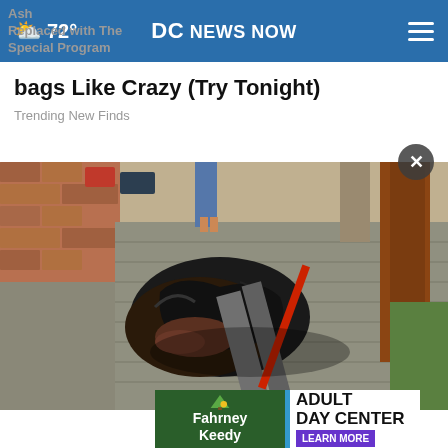72° DC NEWS NOW
bags Like Crazy (Try Tonight)
Trending New Finds
[Figure (photo): Photograph showing debris and damaged material on a rooftop surface, with people visible in the background and a red tool or implement visible]
Ash
Replaced with The Special Program
[Figure (other): Fahrney Keedy advertisement banner with green background and tree logo]
[Figure (other): Adult Day Center advertisement with Learn More button]